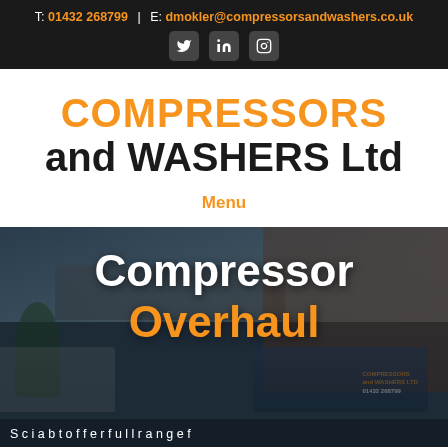T: 01432 268799 | E: dmokler@compressorsandwashers.co.uk
COMPRESSORS and WASHERS Ltd
Menu
[Figure (photo): Background photo of a brick building with sky and a company van, overlaid with dark tint. Text reads 'Compressor Overhaul' and a partial sentence below.]